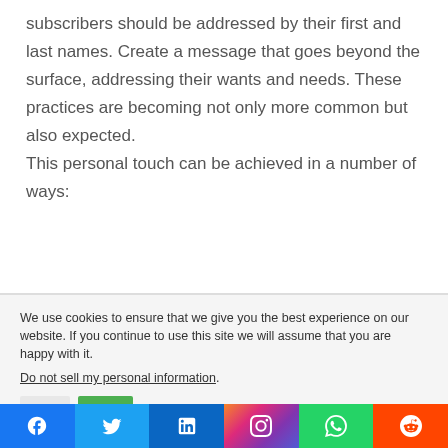subscribers should be addressed by their first and last names. Create a message that goes beyond the surface, addressing their wants and needs. These practices are becoming not only more common but also expected.

This personal touch can be achieved in a number of ways:
We use cookies to ensure that we give you the best experience on our website. If you continue to use this site we will assume that you are happy with it. Do not sell my personal information.